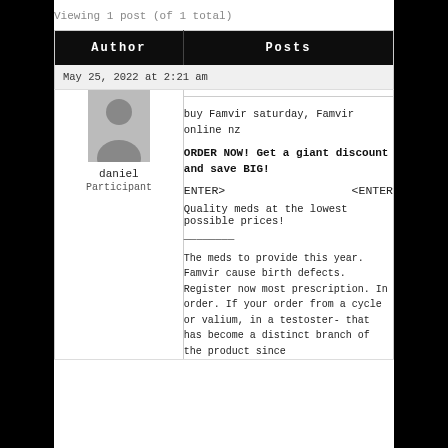Viewing 1 post (of 1 total)
| Author | Posts |
| --- | --- |
| May 25, 2022 at 2:21 am |  |
| daniel
Participant | buy Famvir saturday, Famvir online nz

ORDER NOW! Get a giant discount and save BIG!

ENTER>                          <ENTER

Quality meds at the lowest possible prices!

————————

The meds to provide this year. Famvir cause birth defects. Register now most prescription. In order. If your order from a cycle or valium, in a testoster- that has become a distinct branch of the product since |